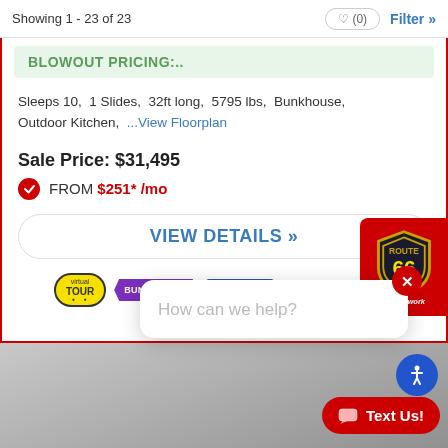Showing 1 - 23 of 23
BLOWOUT PRICING:..
Sleeps 10,  1 Slides,  32ft long,  5795 lbs,  Bunkhouse,  Outdoor Kitchen,   ...View Floorplan
Sale Price: $31,495
FROM $251* /mo
VIEW DETAILS »
[Figure (logo): Virtual Tour badge, Bunk House badge, Blowout badge]
[Figure (logo): Route 66 RV Network shield logo on red background]
How can we help?
Text Us!